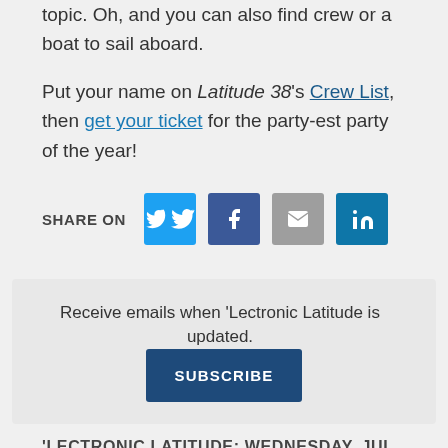topic. Oh, and you can also find crew or a boat to sail aboard.
Put your name on Latitude 38's Crew List, then get your ticket for the party-est party of the year!
SHARE ON
Receive emails when 'Lectronic Latitude is updated. SUBSCRIBE
'LECTRONIC LATITUDE: WEDNESDAY, JUL 28